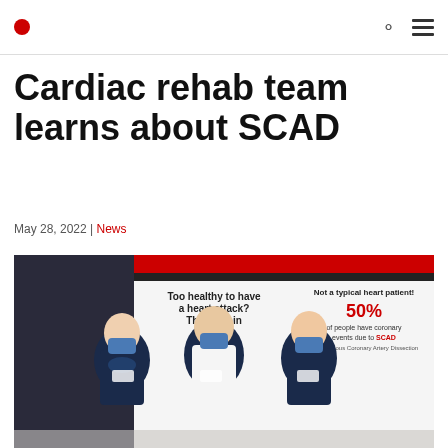[Logo] | Search | Menu
Cardiac rehab team learns about SCAD
May 28, 2022 | News
[Figure (photo): Three NHS nurses wearing dark blue uniforms and face masks standing in front of SCAD awareness banners. Banners read 'Too healthy to have a heart attack? Think again' and 'Not a typical heart patient! 50% of people have coronary events due to SCAD - Spontaneous Coronary Artery Dissection']